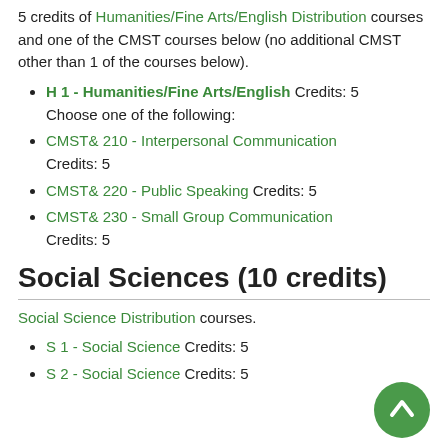5 credits of Humanities/Fine Arts/English Distribution courses and one of the CMST courses below (no additional CMST other than 1 of the courses below).
H 1 - Humanities/Fine Arts/English Credits: 5
Choose one of the following:
CMST& 210 - Interpersonal Communication Credits: 5
CMST& 220 - Public Speaking Credits: 5
CMST& 230 - Small Group Communication Credits: 5
Social Sciences (10 credits)
Social Science Distribution courses.
S 1 - Social Science Credits: 5
S 2 - Social Science Credits: 5